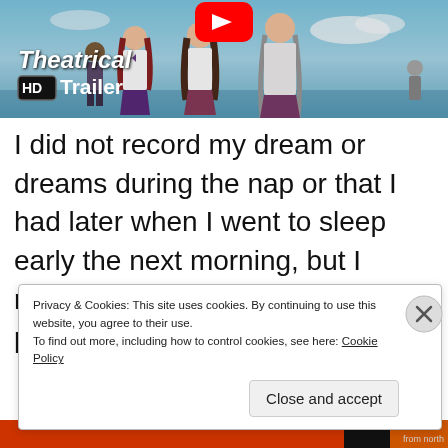[Figure (screenshot): Anime theatrical HD trailer YouTube video thumbnail showing anime characters in school uniforms against a blue sky background, with YouTube play button at top, 'Theatrical' text and 'HD Trailer' badge overlay]
I did not record my dream or dreams during the nap or that I had later when I went to sleep early the next morning, but I managed to barely remember part of this continuing dream.
Privacy & Cookies: This site uses cookies. By continuing to use this website, you agree to their use.
To find out more, including how to control cookies, see here: Cookie Policy
Close and accept